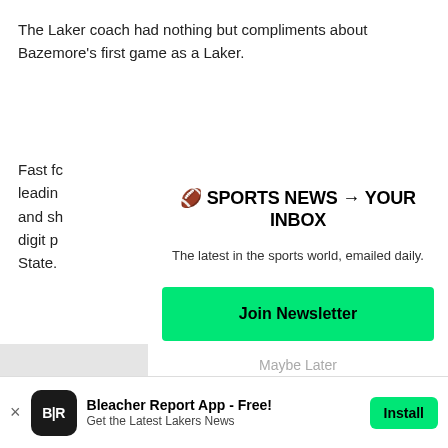The Laker coach had nothing but compliments about Bazemore's first game as a Laker.
Fast fo
leadin
and sh
digit p
State.
And fo
of its g
[Figure (infographic): Newsletter signup overlay with heading '🏈 SPORTS NEWS → YOUR INBOX', subtext 'The latest in the sports world, emailed daily.', a green Join Newsletter button, and a Maybe Later link]
Join Newsletter
Maybe Later
[Figure (infographic): App download banner: Bleacher Report App - Free! Get the Latest Lakers News. Install button on right.]